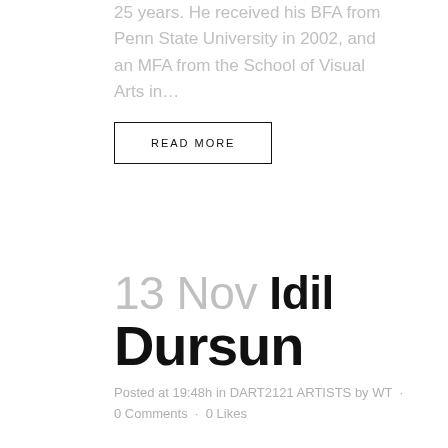25 years. He received his BFA from Penn State University in 2002, and an MFA from the School of Visual Arts in...
READ MORE
13 Nov Idil Dursun
Posted at 19:48h in DART2121 ARTISTS by WT · 0 Comments · 0 Likes